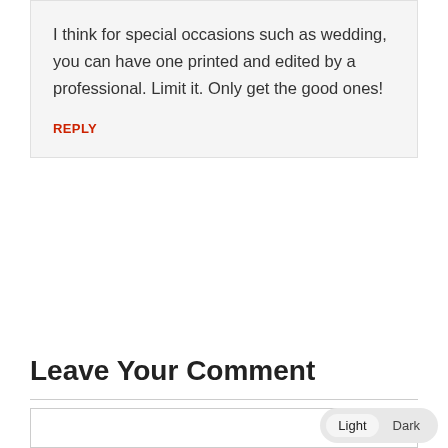I think for special occasions such as wedding, you can have one printed and edited by a professional. Limit it. Only get the good ones!
REPLY
Leave Your Comment
Your email address will not be published. Required fields are marked *
Comments:*